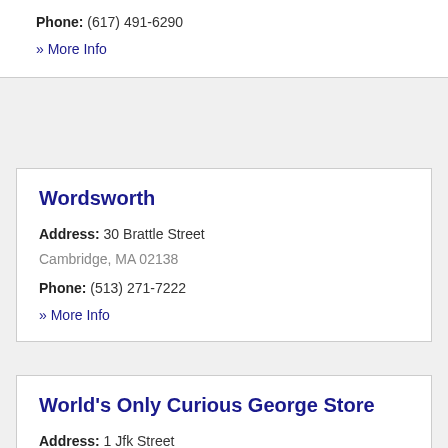Phone: (617) 491-6290
» More Info
Wordsworth
Address: 30 Brattle Street Cambridge, MA 02138
Phone: (513) 271-7222
» More Info
World's Only Curious George Store
Address: 1 Jfk Street Cambridge, MA 02138
Phone: (617) 547-4500
» More Info